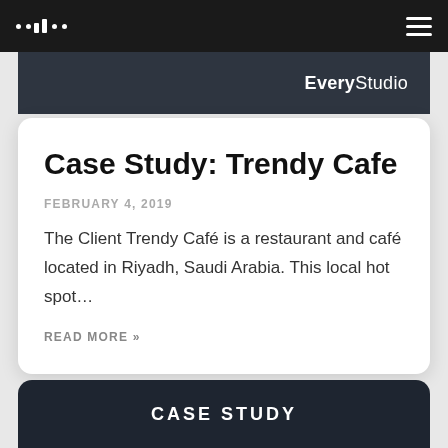EveryStudio
Case Study: Trendy Cafe
FEBRUARY 4, 2019
The Client Trendy Café is a restaurant and café located in Riyadh, Saudi Arabia. This local hot spot…
READ MORE »
CASE STUDY